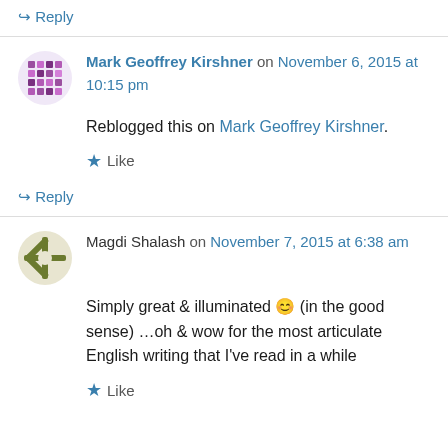↳ Reply
Mark Geoffrey Kirshner on November 6, 2015 at 10:15 pm
Reblogged this on Mark Geoffrey Kirshner.
Like
↳ Reply
Magdi Shalash on November 7, 2015 at 6:38 am
Simply great & illuminated 🙂 (in the good sense) …oh & wow for the most articulate English writing that I've read in a while
Like